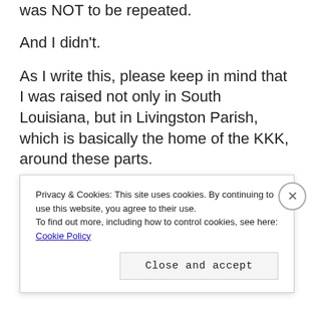was NOT to be repeated.
And I didn't.
As I write this, please keep in mind that I was raised not only in South Louisiana, but in Livingston Parish, which is basically the home of the KKK, around these parts.
Does the name, DAVID DUKE, ring a bell?
I... [partial text cut off]
Privacy & Cookies: This site uses cookies. By continuing to use this website, you agree to their use.
To find out more, including how to control cookies, see here:
Cookie Policy
Close and accept